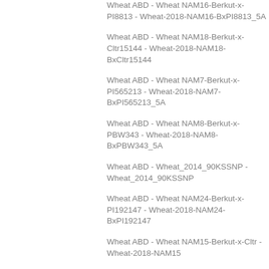Wheat ABD - Wheat NAM16-Berkut-x-PI8813 - Wheat-2018-NAM16-BxPI8813_5A
Wheat ABD - Wheat NAM18-Berkut-x-Cltr15144 - Wheat-2018-NAM18-BxCltr15144
Wheat ABD - Wheat NAM7-Berkut-x-PI565213 - Wheat-2018-NAM7-BxPI565213_5A
Wheat ABD - Wheat NAM8-Berkut-x-PBW343 - Wheat-2018-NAM8-BxPBW343_5A
Wheat ABD - Wheat_2014_90KSSNP - Wheat_2014_90KSSNP
Wheat ABD - Wheat NAM24-Berkut-x-PI192147 - Wheat-2018-NAM24-BxPI192147
Wheat ABD - Wheat NAM15-Berkut-x-Cltr - Wheat-2018-NAM15